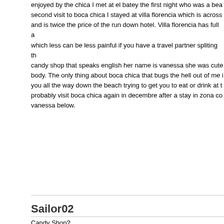enjoyed by the chica I met at el batey the first night who was a bea second visit to boca chica I stayed at villa florencia which is across and is twice the price of the run down hotel. Villa florencia has full a which less can be less painful if you have a travel partner spliting th candy shop that speaks english her name is vanessa she was cute body. The only thing about boca chica that bugs the hell out of me you all the way down the beach trying to get you to eat or drink at t probably visit boca chica again in decembre after a stay in zona co vanessa below.
Sailor02
Candy Shop?
[QUOTE=SandCobra;1345257]This past September was my secon first trip I stayed at Calypso and it was pretty bad, the water didn't v everywhere in the room. The Calypso staff was very nice and the c which was enjoyed by the chica I met at el batey the first night who On my second visit to boca chica I stayed at villa florencia which is Calypso and is twice the price of the run down hotel. Villa florencia 2br which less can be less painful if you have a travel partner spliti at candy shop that speaks english her name is vanessa she was c body. The only thing about boca chica that bugs the hell out of me you all the way down the beach trying to get you to eat or drink at t probably visit boca chica again in decembre after a stay in zona co vanessa below.[/QUOTE]Hey Cobra. I agree with you about the to remember the prices for the Valencia? I will be traveling with a win